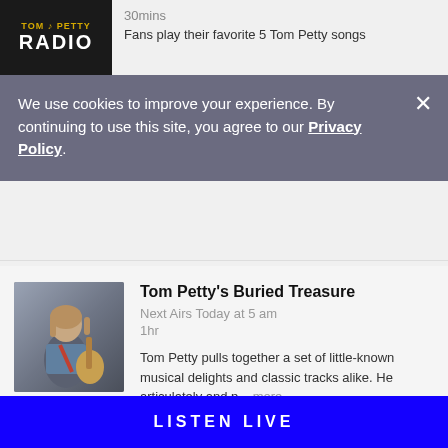[Figure (logo): Tom Petty Radio logo with microphone icon on dark background]
30mins
Fans play their favorite 5 Tom Petty songs
We use cookies to improve your experience. By continuing to use this site, you agree to our Privacy Policy.
Tom Petty's Buried Treasure
Next Airs Today at 5 am
1hr
Tom Petty pulls together a set of little-known musical delights and classic tracks alike. He articulately and p... more
Show Schedule ∨
LISTEN LIVE